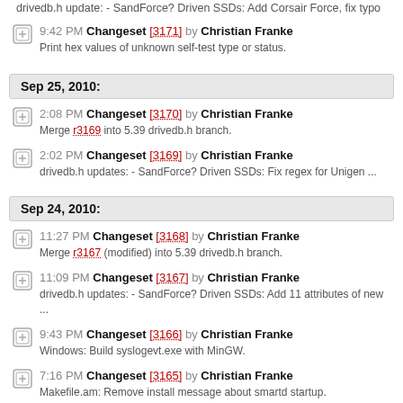drivedb.h update: - SandForce? Driven SSDs: Add Corsair Force, fix typo
9:42 PM Changeset [3171] by Christian Franke — Print hex values of unknown self-test type or status.
Sep 25, 2010:
2:08 PM Changeset [3170] by Christian Franke — Merge r3169 into 5.39 drivedb.h branch.
2:02 PM Changeset [3169] by Christian Franke — drivedb.h updates: - SandForce? Driven SSDs: Fix regex for Unigen ...
Sep 24, 2010:
11:27 PM Changeset [3168] by Christian Franke — Merge r3167 (modified) into 5.39 drivedb.h branch.
11:09 PM Changeset [3167] by Christian Franke — drivedb.h updates: - SandForce? Driven SSDs: Add 11 attributes of new ...
9:43 PM Changeset [3166] by Christian Franke — Windows: Build syslogevt.exe with MinGW.
7:16 PM Changeset [3165] by Christian Franke — Makefile.am: Remove install message about smartd startup.
7:08 PM Changeset [3164] by Christian Franke